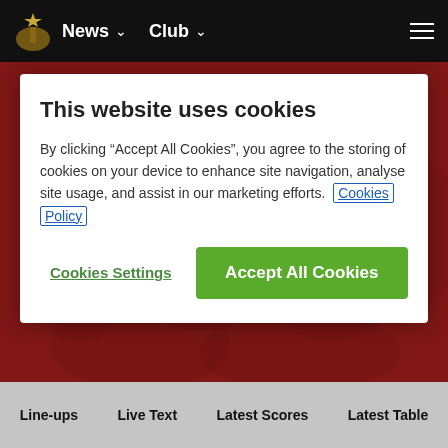News  Club
This website uses cookies
By clicking “Accept All Cookies”, you agree to the storing of cookies on your device to enhance site navigation, analyse site usage, and assist in our marketing efforts.  Cookies Policy
Cookies Settings
Accept All Cookies
Line-ups  Live Text  Latest Scores  Latest Table